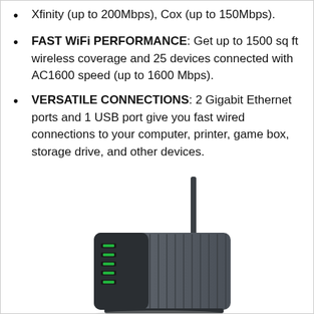Xfinity (up to 200Mbps), Cox (up to 150Mbps).
FAST WiFi PERFORMANCE: Get up to 1500 sq ft wireless coverage and 25 devices connected with AC1600 speed (up to 1600 Mbps).
VERSATILE CONNECTIONS: 2 Gigabit Ethernet ports and 1 USB port give you fast wired connections to your computer, printer, game box, storage drive, and other devices.
[Figure (photo): Photo of a cable modem/router device with a vertical antenna, dark gray color with green LED indicators on the front panel.]